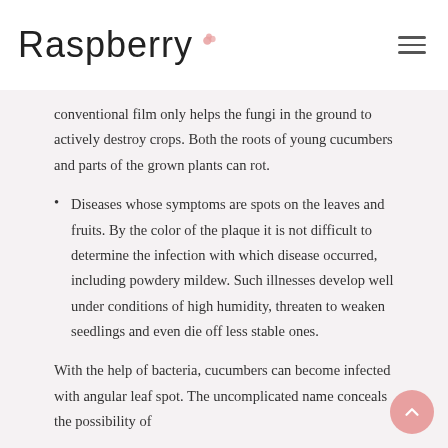Raspberry
conventional film only helps the fungi in the ground to actively destroy crops. Both the roots of young cucumbers and parts of the grown plants can rot.
Diseases whose symptoms are spots on the leaves and fruits. By the color of the plaque it is not difficult to determine the infection with which disease occurred, including powdery mildew. Such illnesses develop well under conditions of high humidity, threaten to weaken seedlings and even die off less stable ones.
With the help of bacteria, cucumbers can become infected with angular leaf spot. The uncomplicated name conceals the possibility of